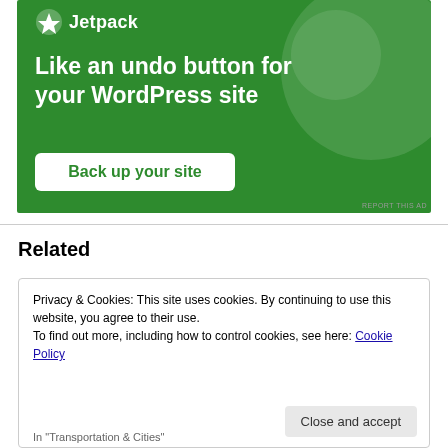[Figure (illustration): Jetpack advertisement banner with green background showing logo, headline 'Like an undo button for your WordPress site', and a 'Back up your site' button]
REPORT THIS AD
Related
Privacy & Cookies: This site uses cookies. By continuing to use this website, you agree to their use.
To find out more, including how to control cookies, see here: Cookie Policy
Close and accept
In "Transportation & Cities"